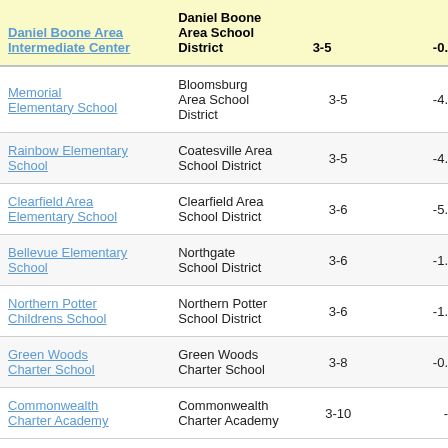| School | District | Grades | Value |
| --- | --- | --- | --- |
| Daniel Boone Area Intermediate Center | Daniel Boone Area School District | 3-5 | -0.… |
| Memorial Elementary School | Bloomsburg Area School District | 3-5 | -4.… |
| Rainbow Elementary School | Coatesville Area School District | 3-5 | -4.… |
| Clearfield Area Elementary School | Clearfield Area School District | 3-6 | -5.… |
| Bellevue Elementary School | Northgate School District | 3-6 | -1.… |
| Northern Potter Childrens School | Northern Potter School District | 3-6 | -1.… |
| Green Woods Charter School | Green Woods Charter School | 3-8 | -0.… |
| Commonwealth Charter Academy | Commonwealth Charter Academy | 3-10 | -… |